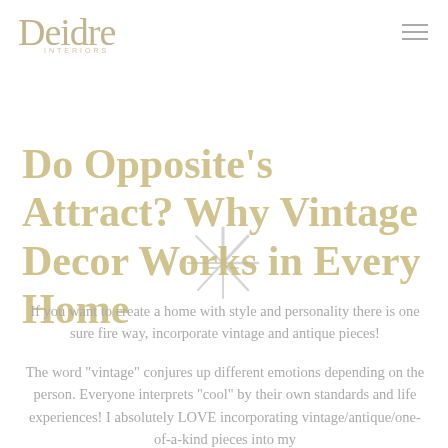Deidre INTERIORS
Do Opposite's Attract? Why Vintage Decor Works in Every Home
If you want to create a home with style and personality there is one sure fire way, incorporate vintage and antique pieces!
The word "vintage" conjures up different emotions depending on the person. Everyone interprets "cool" by their own standards and life experiences! I absolutely LOVE incorporating vintage/antique/one-of-a-kind pieces into my